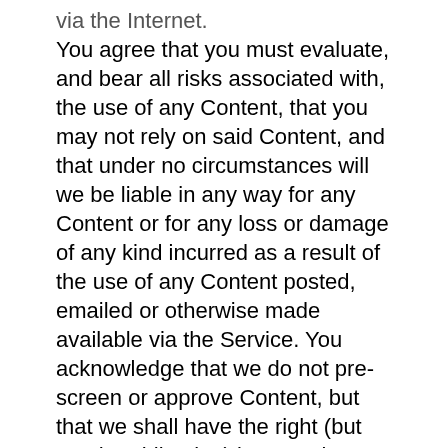via the Internet. You agree that you must evaluate, and bear all risks associated with, the use of any Content, that you may not rely on said Content, and that under no circumstances will we be liable in any way for any Content or for any loss or damage of any kind incurred as a result of the use of any Content posted, emailed or otherwise made available via the Service. You acknowledge that we do not pre-screen or approve Content, but that we shall have the right (but not the obligation) in our sole discretion to refuse, delete or move any Content that is available via the Service, for violating the letter or spirit of this ToS, the Acceptable Use Policy or for any other reason. Further, you agree that we shall not be responsible or liable for any loss or damage of any content...